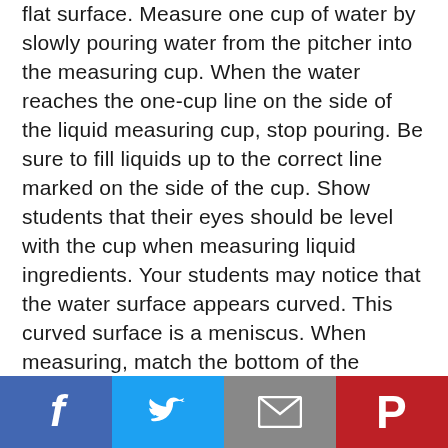flat surface. Measure one cup of water by slowly pouring water from the pitcher into the measuring cup. When the water reaches the one-cup line on the side of the liquid measuring cup, stop pouring. Be sure to fill liquids up to the correct line marked on the side of the cup. Show students that their eyes should be level with the cup when measuring liquid ingredients. Your students may notice that the water surface appears curved. This curved surface is a meniscus. When measuring, match the bottom of the meniscus (or curve) to the correct line on the side
[Figure (infographic): Social sharing bar with four buttons: Facebook (blue, f icon), Twitter (light blue, bird icon), Email (gray, envelope icon), Pinterest (red, P icon)]